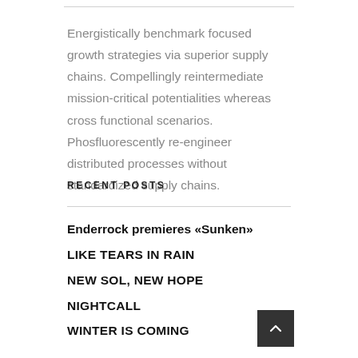Energistically benchmark focused growth strategies via superior supply chains. Compellingly reintermediate mission-critical potentialities whereas cross functional scenarios. Phosfluorescently re-engineer distributed processes without standardized supply chains.
RECENT POSTS
Enderrock premieres «Sunken»
LIKE TEARS IN RAIN
NEW SOL, NEW HOPE
NIGHTCALL
WINTER IS COMING